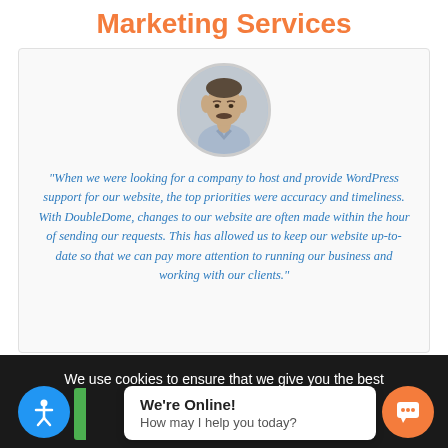Marketing Services
[Figure (photo): Circular avatar photo of a middle-aged man with a mustache wearing a light blue shirt]
"When we were looking for a company to host and provide WordPress support for our website, the top priorities were accuracy and timeliness. With DoubleDome, changes to our website are often made within the hour of sending our requests. This has allowed us to keep our website up-to-date so that we can pay more attention to running our business and working with our clients."
We use cookies to ensure that we give you the best experience on our website.
We're Online! How may I help you today?